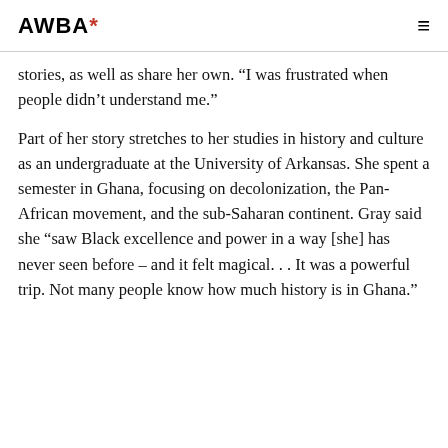AWBA*
stories, as well as share her own. “I was frustrated when people didn’t understand me.”
Part of her story stretches to her studies in history and culture as an undergraduate at the University of Arkansas. She spent a semester in Ghana, focusing on decolonization, the Pan-African movement, and the sub-Saharan continent. Gray said she “saw Black excellence and power in a way [she] has never seen before – and it felt magical. . . It was a powerful trip. Not many people know how much history is in Ghana.”